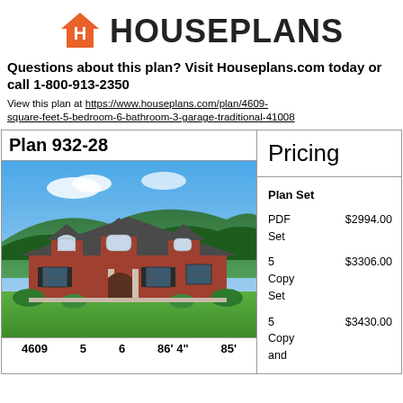[Figure (logo): Houseplans logo with orange house icon and bold HOUSEPLANS text]
Questions about this plan? Visit Houseplans.com today or call 1-800-913-2350
View this plan at https://www.houseplans.com/plan/4609-square-feet-5-bedroom-6-bathroom-3-garage-traditional-41008
Plan 932-28
[Figure (photo): Exterior rendering of a large traditional brick house with dormers, arched windows, and black shutters set against a green hillside]
4609  5  6  86' 4"  85'
Pricing
Plan Set
PDF Set  $2994.00
5 Copy Set  $3306.00
5 Copy and  $3430.00